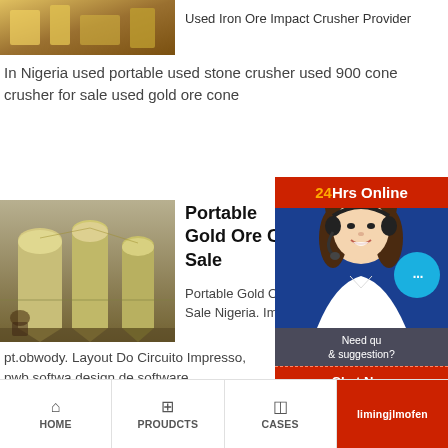[Figure (photo): Industrial machinery / equipment photo at top left]
Used Iron Ore Impact Crusher Provider
In Nigeria used portable used stone crusher used 900 cone crusher for sale used gold ore cone
[Figure (photo): Industrial silos / plant machinery photo]
Portable Gold Ore Cone Sale
Portable Gold Ore C Sale Nigeria. Impre
pt.obwody. Layout Do Circuito Impresso, pwb software design de software, prototipagem rápida, projeto imp montagem ...
[Figure (infographic): Live chat widget overlay with 24Hrs Online header, smiling agent with headset, chat bubble, Need question & suggestion section, Chat Now button, Enquiry button, limingjlmofen button]
HOME   PROUDCTS   CASES   limingjlmofen